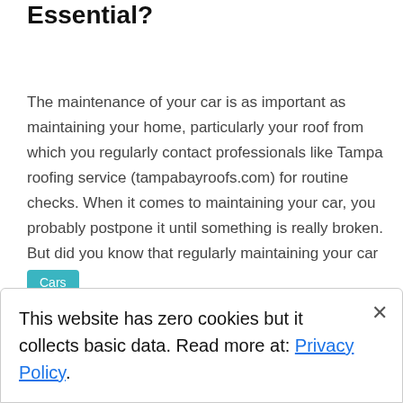Essential?
The maintenance of your car is as important as maintaining your home, particularly your roof from which you regularly contact professionals like Tampa roofing service (tampabayroofs.com) for routine checks. When it comes to maintaining your car, you probably postpone it until something is really broken. But did you know that regularly maintaining your car is […]
Cars
secondhand
This website has zero cookies but it collects basic data. Read more at: Privacy Policy.